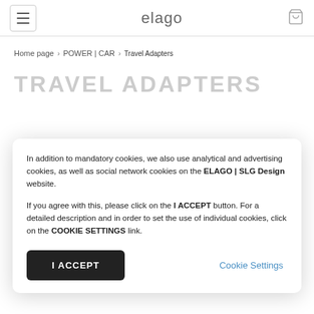elago
Home page › POWER | CAR › Travel Adapters
TRAVEL ADAPTERS
In addition to mandatory cookies, we also use analytical and advertising cookies, as well as social network cookies on the ELAGO | SLG Design website.

If you agree with this, please click on the I ACCEPT button. For a detailed description and in order to set the use of individual cookies, click on the COOKIE SETTINGS link.
I ACCEPT
Cookie Settings